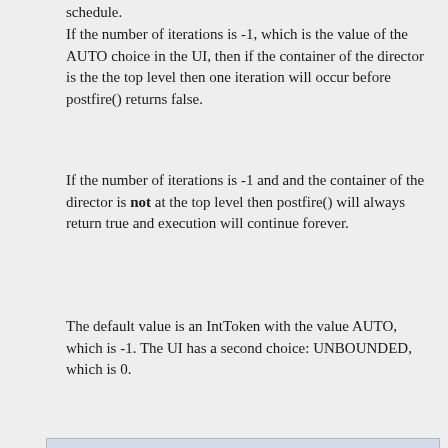schedule.
If the number of iterations is -1, which is the value of the AUTO choice in the UI, then if the container of the director is the the top level then one iteration will occur before postfire() returns false.
If the number of iterations is -1 and and the container of the director is not at the top level then postfire() will always return true and execution will continue forever.
The default value is an IntToken with the value AUTO, which is -1. The UI has a second choice: UNBOUNDED, which is 0.
period
public Parameter period
The time period of each iteration. This parameter has type double and default value 0.0, which means that this director does not increment